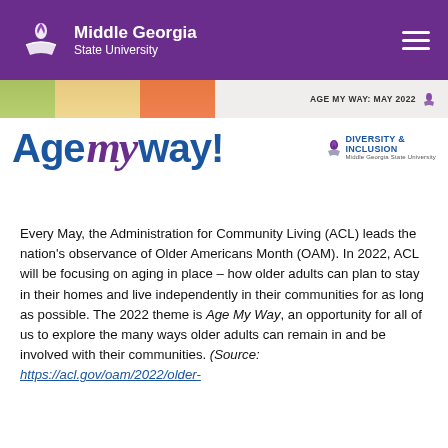Middle Georgia State University
[Figure (illustration): Age My Way May 2022 banner image with cartoon older adults and Diversity & Inclusion logo from Middle Georgia State University]
Every May, the Administration for Community Living (ACL) leads the nation's observance of Older Americans Month (OAM). In 2022, ACL will be focusing on aging in place – how older adults can plan to stay in their homes and live independently in their communities for as long as possible. The 2022 theme is Age My Way, an opportunity for all of us to explore the many ways older adults can remain in and be involved with their communities. (Source: https://acl.gov/oam/2022/older-